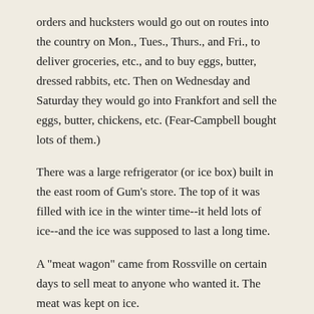orders and hucksters would go out on routes into the country on Mon., Tues., Thurs., and Fri., to deliver groceries, etc., and to buy eggs, butter, dressed rabbits, etc. Then on Wednesday and Saturday they would go into Frankfort and sell the eggs, butter, chickens, etc. (Fear-Campbell bought lots of them.)
There was a large refrigerator (or ice box) built in the east room of Gum's store. The top of it was filled with ice in the winter time--it held lots of ice--and the ice was supposed to last a long time.
A "meat wagon" came from Rossville on certain days to sell meat to anyone who wanted it. The meat was kept on ice.
"Dressed" calves, turkeys, chickens, etc. were packed in ice in box cars and shipped to cities. Box cars of apples and potatoes were shipped into Cambria and sold. Dried